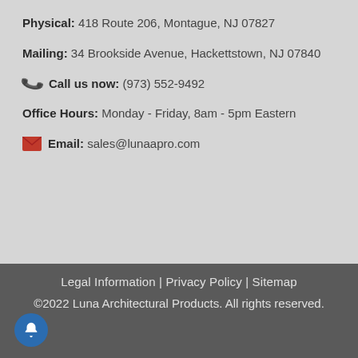Physical: 418 Route 206, Montague, NJ 07827
Mailing: 34 Brookside Avenue, Hackettstown, NJ 07840
Call us now: (973) 552-9492
Office Hours: Monday - Friday, 8am - 5pm Eastern
Email: sales@lunaapro.com
Legal Information | Privacy Policy | Sitemap
©2022 Luna Architectural Products. All rights reserved.